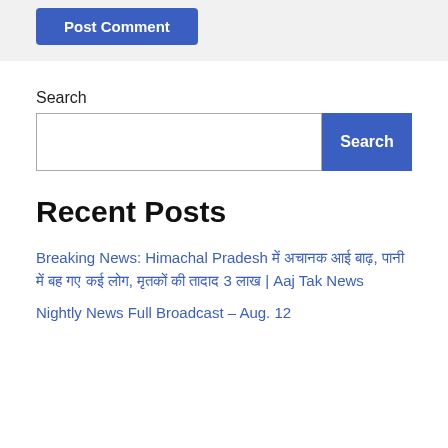Post Comment
Search
Recent Posts
Breaking News: Himachal Pradesh में अचानक आई बाढ़, पानी में बह गए कई लोग, मृतकों की तादाद 3 लाख | Aaj Tak News
Nightly News Full Broadcast – Aug. 12